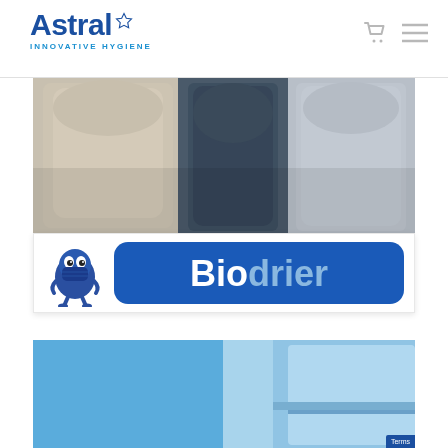Astral Innovative Hygiene
[Figure (photo): Close-up photo of multiple hand dryer units in grey and dark blue/navy colors against a light background]
[Figure (logo): Biodrier logo banner: small blue cartoon germ mascot character on the left, and a large blue rounded rectangle badge with white text reading 'Biodrier' (Bio in white, drier in lighter blue)]
[Figure (photo): Photo of a blue hand dryer unit, partially cropped, showing the front and side panels against a blue background]